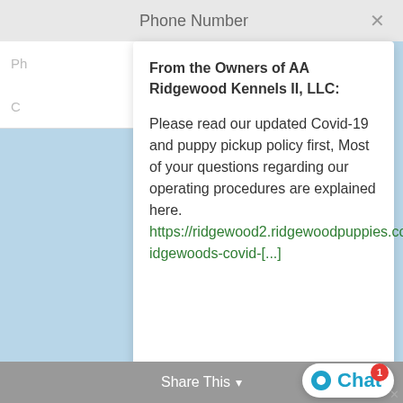Phone Number
From the Owners of AA Ridgewood Kennels II, LLC:
Please read our updated Covid-19 and puppy pickup policy first, Most of your questions regarding our operating procedures are explained here. https://ridgewood2.ridgewoodpuppies.com/ridgewoods-covid-[...]
Type here and press enter..
Share This
Chat